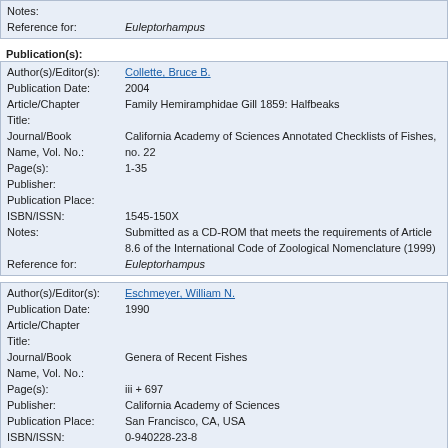| Notes: |  |
| Reference for: | Euleptorhampus |
Publication(s):
| Author(s)/Editor(s): | Collette, Bruce B. |
| Publication Date: | 2004 |
| Article/Chapter Title: | Family Hemiramphidae Gill 1859: Halfbeaks |
| Journal/Book Name, Vol. No.: | California Academy of Sciences Annotated Checklists of Fishes, no. 22 |
| Page(s): | 1-35 |
| Publisher: |  |
| Publication Place: |  |
| ISBN/ISSN: | 1545-150X |
| Notes: | Submitted as a CD-ROM that meets the requirements of Article 8.6 of the International Code of Zoological Nomenclature (1999) |
| Reference for: | Euleptorhampus |
| Author(s)/Editor(s): | Eschmeyer, William N. |
| Publication Date: | 1990 |
| Article/Chapter Title: |  |
| Journal/Book Name, Vol. No.: | Genera of Recent Fishes |
| Page(s): | iii + 697 |
| Publisher: | California Academy of Sciences |
| Publication Place: | San Francisco, CA, USA |
| ISBN/ISSN: | 0-940228-23-8 |
| Notes: |  |
| Reference for: | Euleptorhampus |